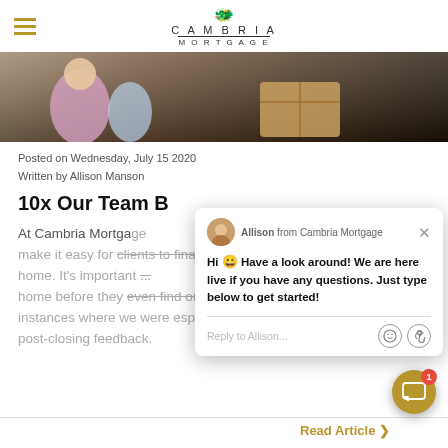Cambria Mortgage
[Figure (photo): Hero image showing people moving into a home with boxes]
Posted on Wednesday, July 15 2020
Written by Allison Manson
10x Our Team B...
At Cambria Mortgage we make it easy for clients to finance or refinance a home. It's important... home before they even find one, here are 10 instances where we were especially blown away... post-closing feedback.
[Figure (screenshot): Live chat popup from Allison at Cambria Mortgage saying: Hi Have a look around! We are here live if you have any questions. Just type below to get started! With a Reply to Allison input field.]